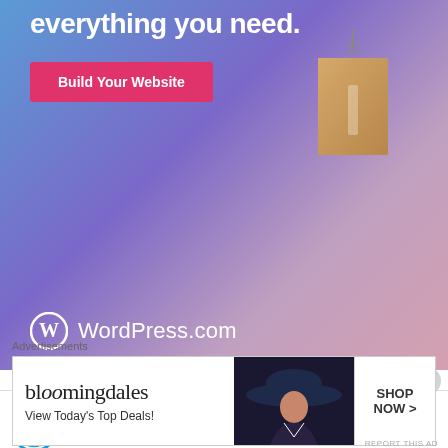[Figure (illustration): WordPress.com advertisement banner with blue-purple gradient background, price tag graphic, 'Build Your Website' pink button, and WordPress.com logo at bottom left]
REPORT THIS AD
Barisha Murmu on July 23, 2010 at 2:08 pm
Hi,
This is Barisha from Baripada.i my self a santhala. and i inform you that santhalis are very
[Figure (illustration): Bloomingdale's advertisement banner with model wearing wide-brim hat, 'View Today's Top Deals!' text, and 'SHOP NOW >' button]
Advertisements
REPORT THIS AD